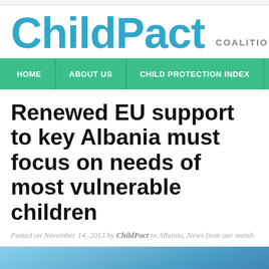ChildPact   COALITION FO
HOME   ABOUT US   CHILD PROTECTION INDEX   VIDE
Renewed EU support to key Albania must focus on needs of most vulnerable children
Posted on November 14, 2013 by ChildPact in Albania, News from our memb
[Figure (photo): Outdoor photo with blue sky and trees in background]